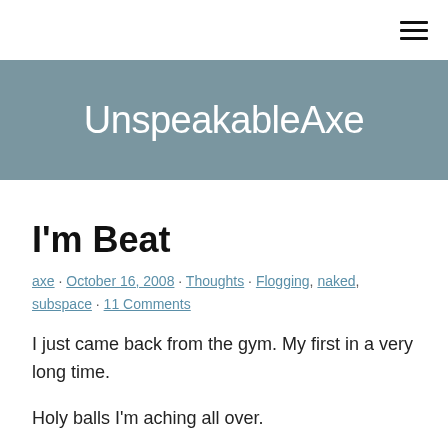UnspeakableAxe
I'm Beat
axe · October 16, 2008 · Thoughts · Flogging, naked, subspace · 11 Comments
I just came back from the gym. My first in a very long time.
Holy balls I'm aching all over.